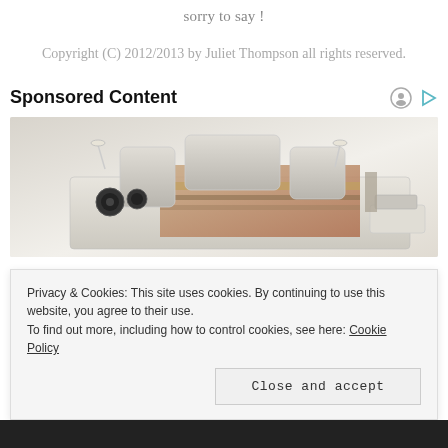sorry to say !
Copyright (C) 2012/2013 by Juliet Thompson all rights reserved.
Sponsored Content
[Figure (photo): Advertisement image showing a modern luxury bed with speakers, built-in shelving, adjustable headrests, and bedding in cream/brown tones]
Privacy & Cookies: This site uses cookies. By continuing to use this website, you agree to their use.
To find out more, including how to control cookies, see here: Cookie Policy
Close and accept